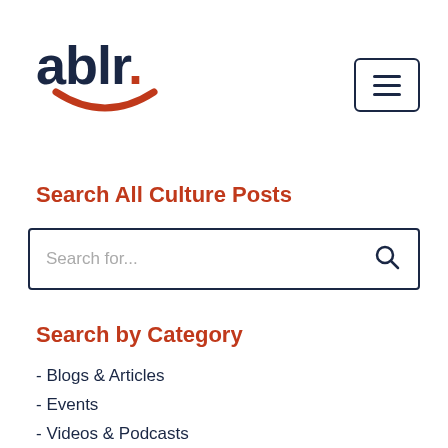[Figure (logo): ablr. logo with dark navy text and orange dot, and orange smile arc beneath]
[Figure (other): Hamburger menu button: three horizontal lines in a rounded rectangle border]
Search All Culture Posts
[Figure (other): Search input box with placeholder text 'Search for...' and a magnifying glass icon on the right]
Search by Category
- Blogs & Articles
- Events
- Videos & Podcasts
- News & Releases